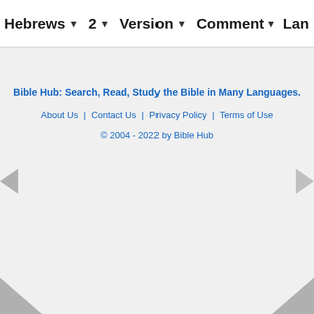Hebrews ▾  2 ▾  Version ▾  Comment▾  Lan
Bible Hub: Search, Read, Study the Bible in Many Languages.
About Us | Contact Us | Privacy Policy | Terms of Use
© 2004 - 2022 by Bible Hub